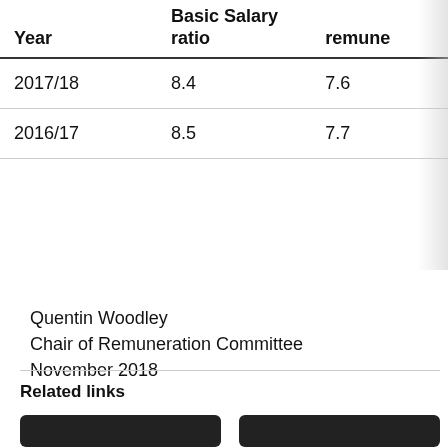| Year | Basic Salary ratio | remune |
| --- | --- | --- |
| 2017/18 | 8.4 | 7.6 |
| 2016/17 | 8.5 | 7.7 |
Quentin Woodley
Chair of Remuneration Committee
November 2018
Related links